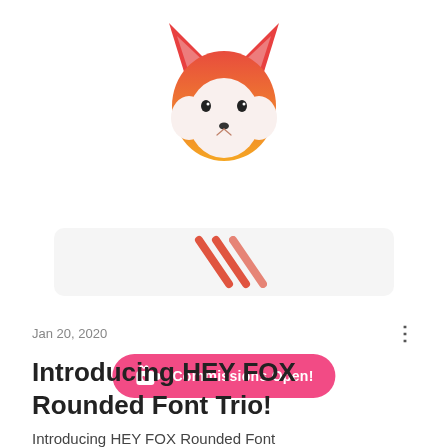[Figure (illustration): Fox mascot logo — geometric flat-style fox head with orange and white coloring, pointed ears, pink nose tip]
[Figure (infographic): Pink rounded pill-shaped button with Ko-fi cup icon on left and text 'Commissions Open!' in white bold font]
[Figure (illustration): Light grey rounded rectangle banner with red/orange diagonal stripe lines in the center]
Jan 20, 2020
Introducing HEY FOX Rounded Font Trio!
Introducing HEY FOX Rounded Font